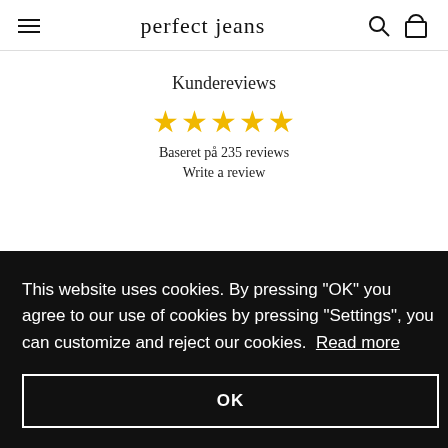perfect jeans
Kundereviews
[Figure (other): Five gold stars rating display]
Baseret på 235 reviews
Write a review
This website uses cookies. By pressing "OK" you agree to our use of cookies by pressing "Settings", you can customize and reject our cookies.  Read more
OK